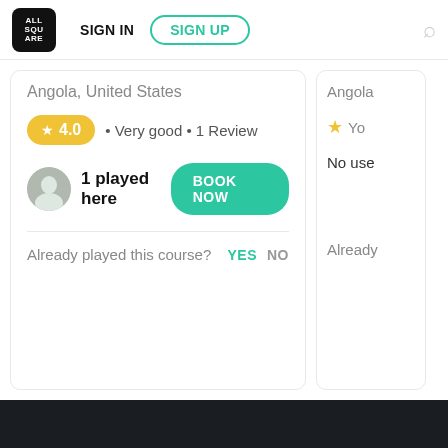SIGN IN | SIGN UP
Angola, United States
4.0 · Very good · 1 Review
1 played here
BOOK NOW
Already played this course? YES NO
Angola
No use
Already
Your rating
BOOK NOW